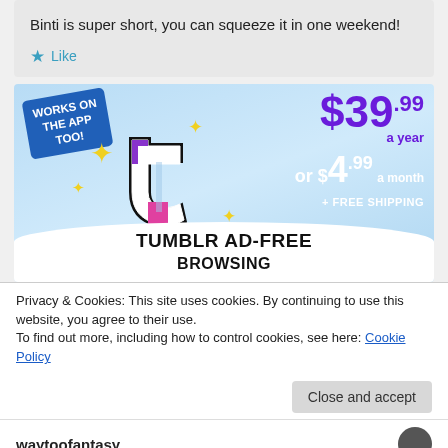Binti is super short, you can squeeze it in one weekend!
★ Like
[Figure (screenshot): Tumblr ad showing the Tumblr 't' logo with sparkle stars on a blue sky background. Text reads: WORKS ON THE APP TOO!, $39.99 a year or $4.99 a month + FREE SHIPPING. Bottom banner says TUMBLR AD-FREE BROWSING.]
Privacy & Cookies: This site uses cookies. By continuing to use this website, you agree to their use.
To find out more, including how to control cookies, see here: Cookie Policy
Close and accept
waytoofantasy